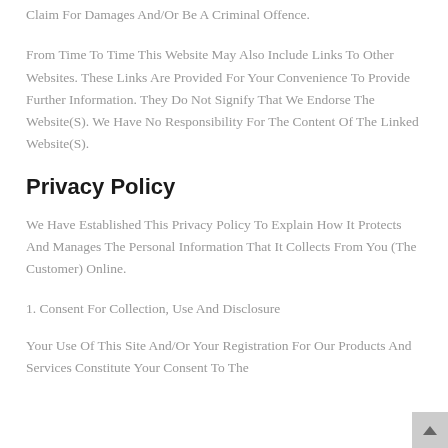Claim For Damages And/Or Be A Criminal Offence.
From Time To Time This Website May Also Include Links To Other Websites. These Links Are Provided For Your Convenience To Provide Further Information. They Do Not Signify That We Endorse The Website(S). We Have No Responsibility For The Content Of The Linked Website(S).
Privacy Policy
We Have Established This Privacy Policy To Explain How It Protects And Manages The Personal Information That It Collects From You (The Customer) Online.
1. Consent For Collection, Use And Disclosure
Your Use Of This Site And/Or Your Registration For Our Products And Services Constitute Your Consent To The